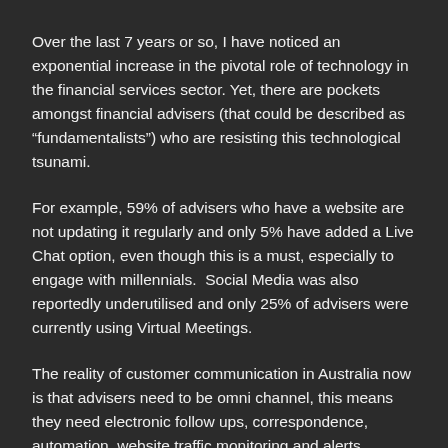Over the last 7 years or so, I have noticed an exponential increase in the pivotal role of technology in the financial services sector. Yet, there are pockets amongst financial advisers (that could be described as “fundamentalists”) who are resisting this technological tsunami.
For example, 59% of advisers who have a website are not updating it regularly and only 5% have added a Live Chat option, even though this is a must, especially to engage with millennials. Social Media was also reportedly underutilised and only 25% of advisers were currently using Virtual Meetings.
The reality of customer communication in Australia now is that advisers need to be omni channel, this means they need electronic follow ups, correspondence, automation, website traffic monitoring and alerts.